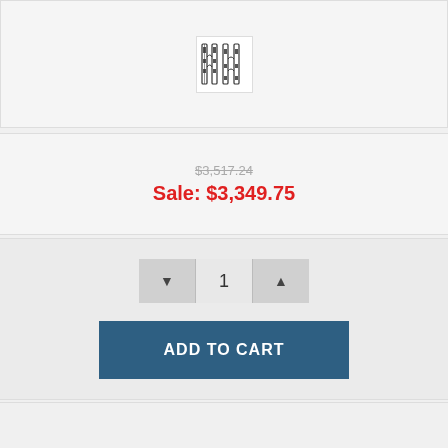[Figure (photo): Product image of suspension coilovers/shock absorbers set]
$3,517.24
Sale: $3,349.75
1
ADD TO CART